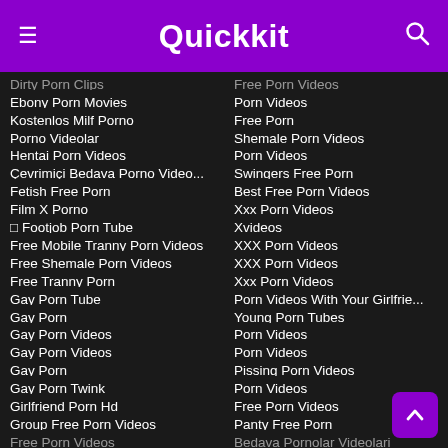Quickkit
Dirty Porn Clips
Ebony Porn Movies
Kostenlos Milf Porno
Porno Videolar
Hentai Porn Videos
Çevrimiçi Bedava Porno Video...
Fetish Free Porn
Film X Porno
🔲 Footjob Porn Tube
Free Mobile Tranny Porn Videos
Free Shemale Porn Videos
Free Tranny Porn
Gay Porn Tube
Gay Porn
Gay Porn Videos
Gay Porn Videos
Gay Porn
Gay Porn Twink
Girlfriend Porn Hd
Group Free Porn Videos
Free Porn Videos
Free Porn Videos
Porn Videos
Free Porn
Shemale Porn Videos
Porn Videos
Swingers Free Porn
Best Free Porn Videos
Xxx Porn Videos
Xvideos
XXX Porn Videos
XXX Porn Videos
Xxx Porn Videos
Porn Videos With Your Girlfrie...
Young Porn Tubes
Porn Videos
Porn Videos
Pissing Porn Videos
Porn Videos
Free Porn Videos
Panty Free Porn
Bedava Pornolar Videolari